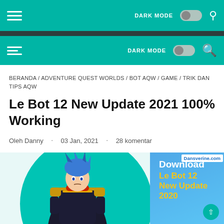DARK MODE [toggle] [search]
DARK MODE [toggle] [search]
BERANDA / ADVENTURE QUEST WORLDS / BOT AQW / GAME / TRIK DAN TIPS AQW
Le Bot 12 New Update 2021 100% Working
Oleh Danny · 03 Jan, 2021 · 28 komentar
[Figure (illustration): Game character in dark armor with blue hair standing in front of a teal circle background. Blue panel on the right shows 'Download Le Bot 12 New Update 2020' text in white and yellow. Dansverine.com badge in top right corner.]